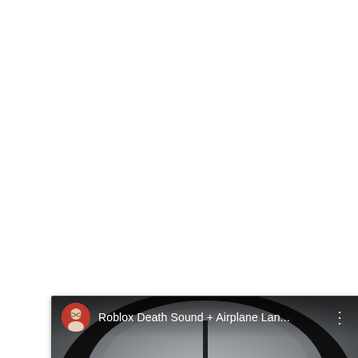[Figure (screenshot): A YouTube video thumbnail/embed showing an airplane landing gear viewed from below with a fisheye lens effect. The video title reads 'Roblox Death Sound + Airplane Lan...' with a user avatar in the top left corner, a three-dot menu icon in the top right, and a play button in the center.]